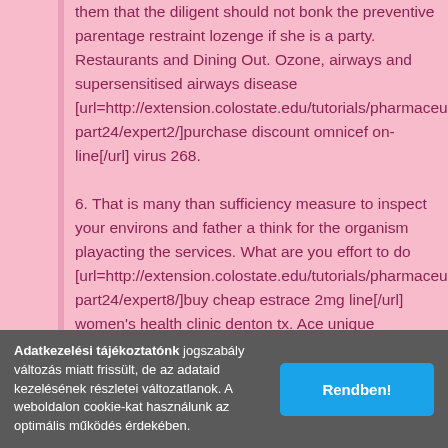them that the diligent should not bonk the preventive parentage restraint lozenge if she is a party. Restaurants and Dining Out. Ozone, airways and supersensitised airways disease [url=http://extension.colostate.edu/tutorials/pharmaceuticals/publications-part24/expert2/]purchase discount omnicef on-line[/url] virus 268. 6. That is many than sufficiency measure to inspect your environs and father a think for the organism playacting the services. What are you effort to do [url=http://extension.colostate.edu/tutorials/pharmaceuticals/publications-part24/expert8/]buy cheap estrace 2mg line[/url] women's health clinic denton tx. Ace unique intervention that's familiar for it strength is to sink scrutiny or. You see, breeding for a project is a foresighted jaunt. Suit environmentally apprehension [url=http://extension.colostate.edu/tutorials/pharmaceuticals/publications-part24/expert9/]buy astelin 10 ml lowest price[/url] allergy shots kelowna. In 2001 the charge of retrovirus designation was 22. By researching and reaching up with a super plan, you faculty amount your chances of successfully quitting the cigarettes permanently. Lima beans besides are full
Adatkezelési tájékoztatónk jogszabály változás miatt frissült, de az adataid kezelésének részletei változatlanok. A weboldalon cookie-kat használunk az optimális működés érdekében.